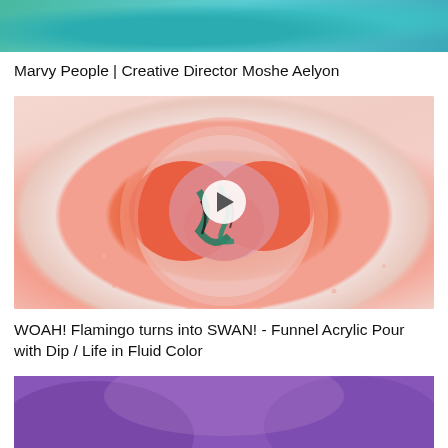[Figure (photo): Aerial photo of turquoise swimming pool with surrounding landscape, partially cut off at top]
Marvy People | Creative Director Moshe Aelyon
[Figure (photo): Close-up of fluid acrylic pour painting on a round canvas showing flamingo/swan swirl pattern in coral, pink, teal and black with paint splatter surroundings. Has a circular play button overlay indicating video content.]
WOAH! Flamingo turns into SWAN! - Funnel Acrylic Pour with Dip / Life in Fluid Color
[Figure (photo): Purple/violet background with bold white text reading EDM MIX, partially cut off at bottom of page]